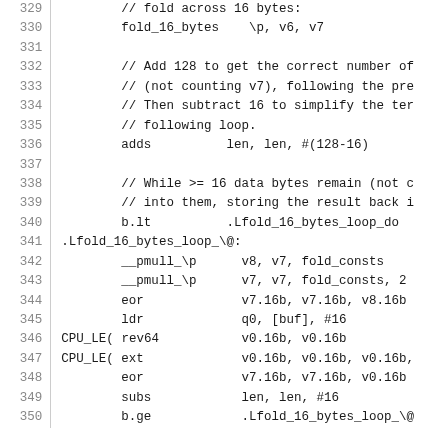Assembly source code listing, lines 329-350, showing CRC fold loop implementation
329: // fold across 16 bytes:
330:     fold_16_bytes  \p, v6, v7
331:
332:     // Add 128 to get the correct number of
333:     // (not counting v7), following the pre
334:     // Then subtract 16 to simplify the ter
335:     // following loop.
336:     adds          len, len, #(128-16)
337:
338:     // While >= 16 data bytes remain (not c
339:     // into them, storing the result back i
340:     b.lt          .Lfold_16_bytes_loop_do
341: .Lfold_16_bytes_loop_\@:
342:     __pmull_\p    v8, v7, fold_consts
343:     __pmull_\p    v7, v7, fold_consts, 2
344:     eor           v7.16b, v7.16b, v8.16b
345:     ldr           q0, [buf], #16
346: CPU_LE( rev64       v0.16b, v0.16b
347: CPU_LE( ext         v0.16b, v0.16b, v0.16b,
348:     eor           v7.16b, v7.16b, v0.16b
349:     subs          len, len, #16
350:     b.ge          .Lfold_16_bytes_loop_\@